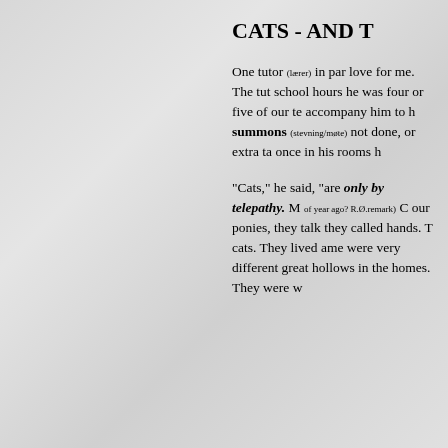CATS - AND T
One tutor (lærer) in par love for me. The tut school hours he was four or five of our te accompany him to h summons (stevning/møte) not done, or extra ta once in his rooms h
"Cats," he said, "are only by telepathy. M of year ago? R.Ø.remark) C our ponies, they talk they called hands. T cats. They lived ame were very different great hollows in the homes. They were w